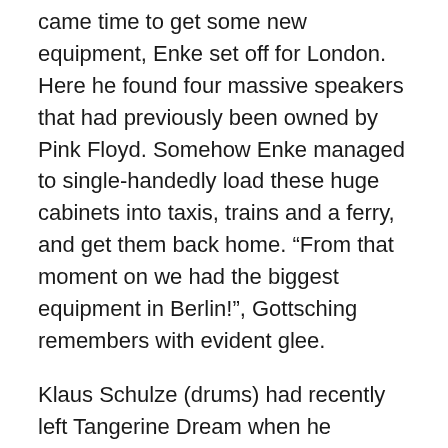came time to get some new equipment, Enke set off for London. Here he found four massive speakers that had previously been owned by Pink Floyd. Somehow Enke managed to single-handedly load these huge cabinets into taxis, trains and a ferry, and get them back home. “From that moment on we had the biggest equipment in Berlin!”, Gottsching remembers with evident glee.
Klaus Schulze (drums) had recently left Tangerine Dream when he stumbled into Enke and G??ttsching’s rehearsal room. Upon seeing the size of their cabinets he immediately suggested that they form a band together. The three went straight to a pub and within half an hour Ash Ra Tempel was born. Schulze not only gave the trio their new name, but he introduced them to the co-owner of Ohr Recordings, Rolf-Ulrich Kaiser.